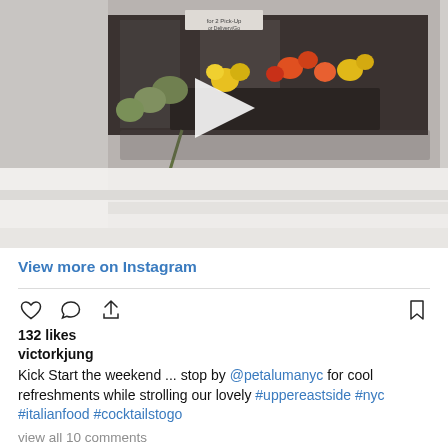[Figure (photo): Instagram post photo showing flower arrangements outside a restaurant window, with a video play button overlay. Scene shows colorful yellow, orange, and red flowers in dark planters against a storefront with a white ledge/steps in the foreground.]
View more on Instagram
132 likes
victorkjung
Kick Start the weekend ... stop by @petalumanyc for cool refreshments while strolling our lovely #uppereastside #nyc #italianfood #cocktailstogo
view all 10 comments